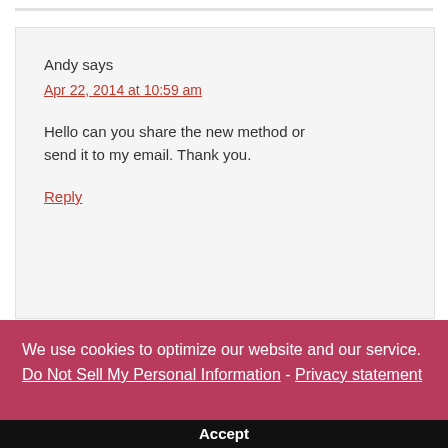Andy says
Apr 22, 2014 at 10:59 am
Hello can you share the new method or send it to my email. Thank you.
Reply
We use cookies to optimize our website and our service.  Do Not Sell My Personal Information - Privacy statement
Accept